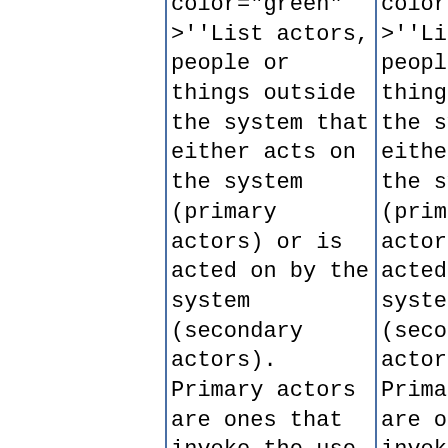color="green" >''List actors, people or things outside the system that either acts on the system (primary actors) or is acted on by the system (secondary actors). Primary actors are ones that invoke the use case and benefit from the result. Identify
color="green" >''List actors, people or things outside the system that either acts on the system (primary actors) or is acted on by the system (secondary actors). Primary actors are ones that invoke the use case and benefit from the result. Identify